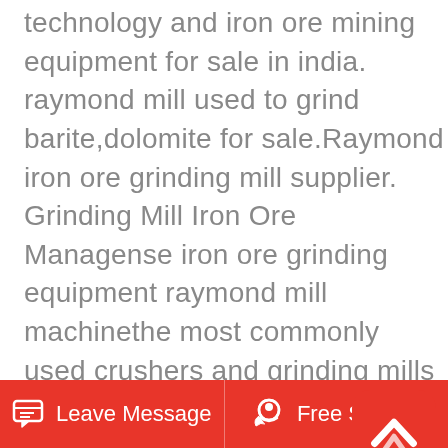technology and iron ore mining equipment for sale in india. raymond mill used to grind barite,dolomite for sale.Raymond iron ore grinding mill supplier. Grinding Mill Iron Ore Managense iron ore grinding equipment raymond mill machinethe most commonly used crushers and grinding mills in iron ore crushing and grinding process for iron ore mining are jaw crusher cone crusher hammer crusher and iron ore grinding ball mill machine overflow type dry wet millingall mill is an.Sag in uzbekistan. We provide SAG and AG Mills up to 122m in diameter Our mills use conventional geared drives for transmitting up to 18000 kW of power by use of a twin pinion system Depend on years of proven reliability and productivity We've been producing the highest quality SAG and AG Mills
[Figure (other): Red rounded square button with white upward chevron arrow icon (scroll to top button)]
Leave Message   Free Service